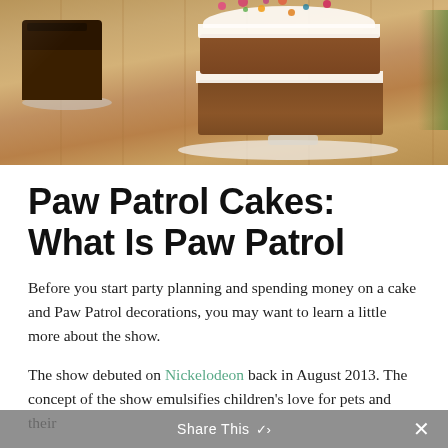[Figure (photo): Photo of a layered cake with white cream frosting and colorful flower decorations on top, on a white plate on a wooden table. A chocolate cake slice is visible on the left side.]
Paw Patrol Cakes: What Is Paw Patrol
Before you start party planning and spending money on a cake and Paw Patrol decorations, you may want to learn a little more about the show.
The show debuted on Nickelodeon back in August 2013. The concept of the show emulsifies children's love for pets and their